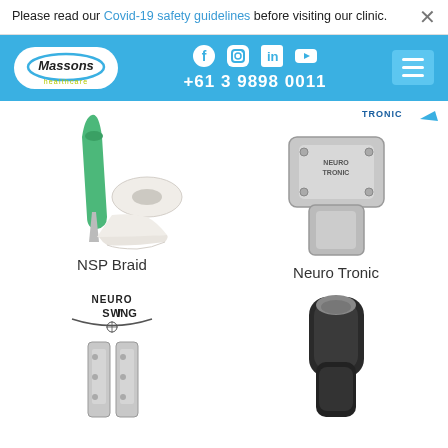Please read our Covid-19 safety guidelines before visiting our clinic.
[Figure (screenshot): Massons Healthcare website header with logo, social media icons (Facebook, Instagram, LinkedIn, YouTube), phone number +61 3 9898 0011, and hamburger menu]
[Figure (photo): NSP Braid product image showing a surgical braid applicator with a roll of white braided tape]
NSP Braid
[Figure (photo): Neuro Tronic product image showing a metallic prosthetic knee joint mechanism with Neuro Tronic branding]
Neuro Tronic
[Figure (photo): Neuro Swing product image showing a prosthetic knee joint with Neuro Swing logo above]
[Figure (photo): Black prosthetic foot/ankle device partially visible]